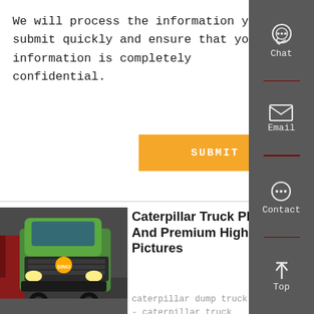We will process the information you submit quickly and ensure that your information is completely confidential.
SUBMIT
[Figure (screenshot): Sidebar panel with Chat, Email, Contact, and Top navigation icons on a dark gray background]
[Figure (photo): A bright green Caterpillar/SINOTRUK dump truck photographed from the front in an indoor showroom or warehouse]
Caterpillar Truck Photos And Premium High Res Pictures
caterpillar dump truck
- caterpillar truck